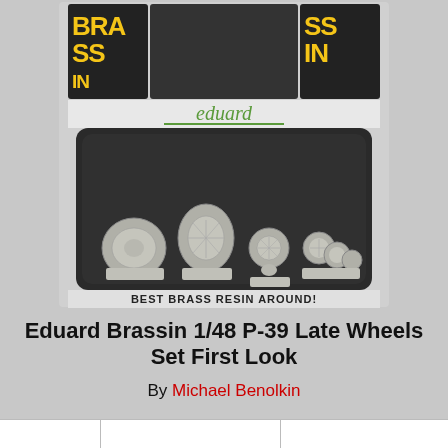[Figure (photo): Product photo of Eduard Brassin 1/48 P-39 Late Wheels Set in packaging. Shows a black Eduard product box with resin wheel parts inside — four groups of grey resin wheels/tires on sprues. The packaging has 'BRAS' and 'SSIN' text in yellow on the sides, 'eduard' logo in green, and text reading 'BEST BRASS RESIN AROUND!' at the bottom.]
Eduard Brassin 1/48 P-39 Late Wheels Set First Look
By Michael Benolkin